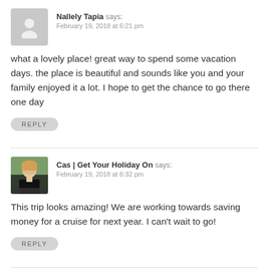Nallely Tapia says:
February 19, 2018 at 6:21 pm
what a lovely place! great way to spend some vacation days. the place is beautiful and sounds like you and your family enjoyed it a lot. I hope to get the chance to go there one day
REPLY
Cas | Get Your Holiday On says:
February 19, 2018 at 6:32 pm
This trip looks amazing! We are working towards saving money for a cruise for next year. I can't wait to go!
REPLY